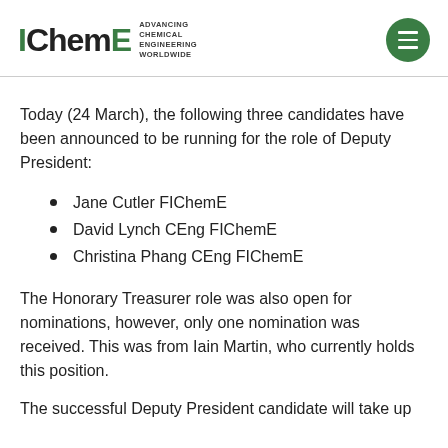IChemE ADVANCING CHEMICAL ENGINEERING WORLDWIDE
Today (24 March), the following three candidates have been announced to be running for the role of Deputy President:
Jane Cutler FIChemE
David Lynch CEng FIChemE
Christina Phang CEng FIChemE
The Honorary Treasurer role was also open for nominations, however, only one nomination was received. This was from Iain Martin, who currently holds this position.
The successful Deputy President candidate will take up